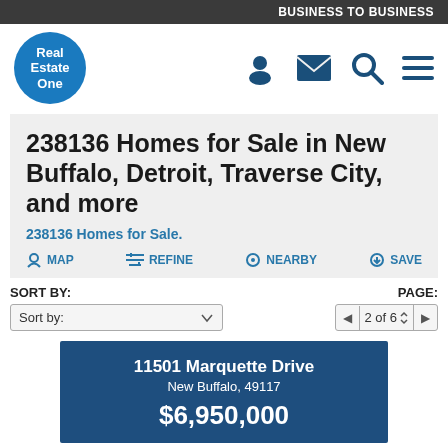BUSINESS TO BUSINESS
[Figure (logo): Real Estate One circular blue logo]
238136 Homes for Sale in New Buffalo, Detroit, Traverse City, and more
238136 Homes for Sale.
MAP   REFINE   NEARBY   SAVE
SORT BY:
Sort by:
PAGE:
2 of 6
11501 Marquette Drive
New Buffalo, 49117
$6,950,000